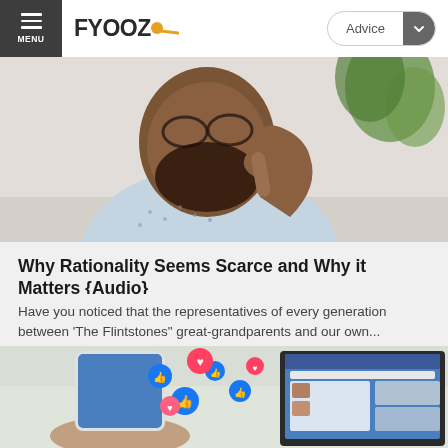MENU | FYOOZ | Advice
[Figure (photo): Close-up photo of a thoughtful Black man with a beard, wearing a patterned shirt, resting his finger on his chin in a thinking pose. Blurred green plant in background.]
Why Rationality Seems Scarce and Why it Matters {Audio}
Have you noticed that the representatives of every generation between 'The Flintstones" great-grandparents and our own...
[Figure (photo): Photo of a hand holding a smartphone with social media like/heart reaction icons floating above it (thumbs up and heart in blue and red/pink), with a laptop showing a Facebook-like feed in the background.]